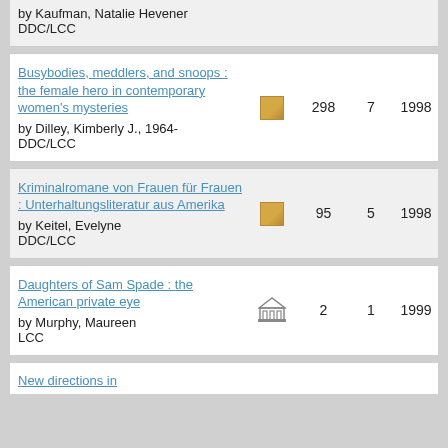by Kaufman, Natalie Hevener
DDC/LCC
Busybodies, meddlers, and snoops : the female hero in contemporary women's mysteries by Dilley, Kimberly J., 1964- DDC/LCC | 298 | 7 | 1998 | 1998
Kriminalromane von Frauen für Frauen : Unterhaltungsliteratur aus Amerika by Keitel, Evelyne DDC/LCC | 95 | 5 | 1998 | 1998
Daughters of Sam Spade : the American private eye by Murphy, Maureen LCC | 2 | 1 | 1999 | 1999
New directions in